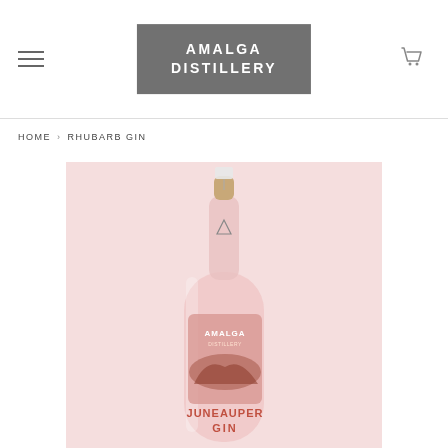AMALGA DISTILLERY
HOME › RHUBARB GIN
[Figure (photo): A bottle of Amalga Distillery Rhubarb Gin (Juneauper Gin) photographed against a soft pink background. The clear bottle contains pink-tinted liquid with an Amalga label and a cork stopper with a hang tag. The label reads AMALGA at the top and JUNEAUPER GIN at the bottom.]